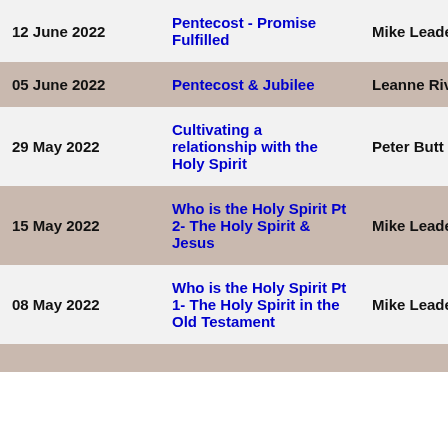| Date | Title | Speaker |
| --- | --- | --- |
| 12 June 2022 | Pentecost - Promise Fulfilled | Mike Leader |
| 05 June 2022 | Pentecost & Jubilee | Leanne Rivet |
| 29 May 2022 | Cultivating a relationship with the Holy Spirit | Peter Butt |
| 15 May 2022 | Who is the Holy Spirit Pt 2- The Holy Spirit & Jesus | Mike Leader |
| 08 May 2022 | Who is the Holy Spirit Pt 1- The Holy Spirit in the Old Testament | Mike Leader |